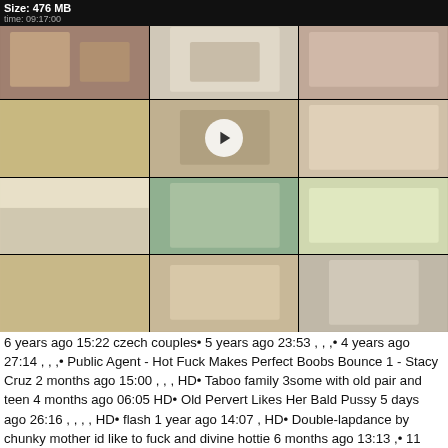Size: 476 MB
time: 09:17:00
[Figure (screenshot): Grid of 12 video thumbnails from an adult video site, 3 columns x 4 rows, with a play button overlay on the center thumbnail]
6 years ago 15:22 czech couples• 5 years ago 23:53 , , ,• 4 years ago 27:14 , , ,• Public Agent - Hot Fuck Makes Perfect Boobs Bounce 1 - Stacy Cruz 2 months ago 15:00 , , , HD• Taboo family 3some with old pair and teen 4 months ago 06:05 HD• Old Pervert Likes Her Bald Pussy 5 days ago 26:16 , , , , HD• flash 1 year ago 14:07 , HD• Double-lapdance by chunky mother id like to fuck and divine hottie 6 months ago 13:13 ,• 11 months ago 23:45 czech couples• 6 years ago 1:03:11 czech couples• Alice Shark, Gaby, Hanna, Yvette, Irenka S - Gym fuckfest 4 months ago 29:08 , , HD• Fake Taxi - Emily